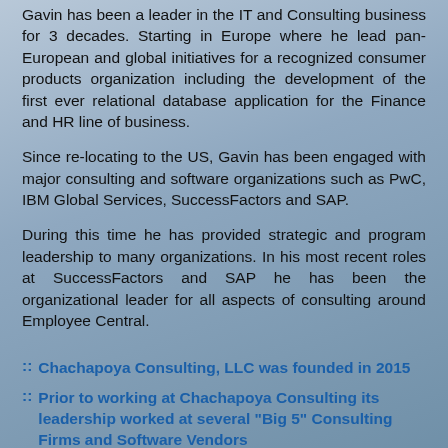Gavin has been a leader in the IT and Consulting business for 3 decades. Starting in Europe where he lead pan-European and global initiatives for a recognized consumer products organization including the development of the first ever relational database application for the Finance and HR line of business.
Since re-locating to the US, Gavin has been engaged with major consulting and software organizations such as PwC, IBM Global Services, SuccessFactors and SAP.
During this time he has provided strategic and program leadership to many organizations. In his most recent roles at SuccessFactors and SAP he has been the organizational leader for all aspects of consulting around Employee Central.
:: Chachapoya Consulting, LLC was founded in 2015
:: Prior to working at Chachapoya Consulting its leadership worked at several "Big 5" Consulting Firms and Software Vendors